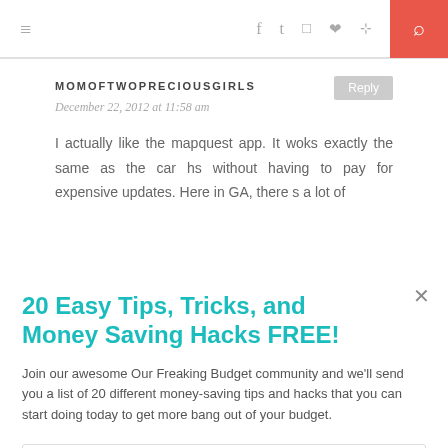≡  f  ✦  ◉  ♡  ⊹  🔍
MOMOFTWOPRECIOUSGIRLS
December 22, 2012 at 11:58 am
I actually like the mapquest app. It woks exactly the same as the car hs without having to pay for expensive updates. Here in GA, there s a lot of
20 Easy Tips, Tricks, and Money Saving Hacks FREE!
Join our awesome Our Freaking Budget community and we'll send you a list of 20 different money-saving tips and hacks that you can start doing today to get more bang out of your budget.
Enter your Email
Sign Me Up!